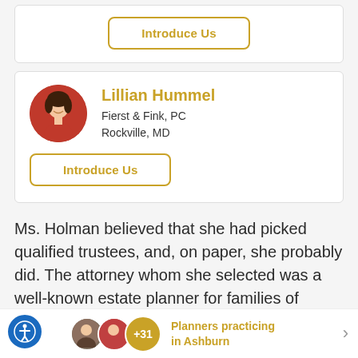[Figure (other): Introduce Us button (top card, partially visible)]
[Figure (other): Profile card for Lillian Hummel with circular photo, name, firm, location, and Introduce Us button]
Ms. Holman believed that she had picked qualified trustees, and, on paper, she probably did. The attorney whom she selected was a well-known estate planner for families of children with special needs, and the bank, JP Morgan
Planners practicing in Ashburn +31